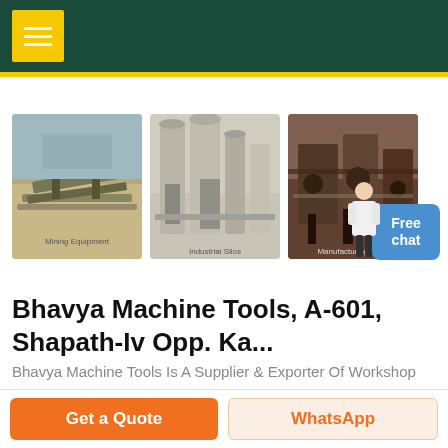Bhavya Machine Tools — navigation header
[Figure (photo): Three industrial machinery photos: mining/quarry conveyor equipment, industrial silo/dust collector towers, and heavy manufacturing plant interior]
Bhavya Machine Tools, A-601, Shapath-Iv Opp. Ka...
Bhavya Machine Tools Is A Supplier & Exporter Of Workshop Machineries, Sheet Metal Machineries, Wood Working Machineries, Automobile & Garage Machineries, Plastic & Printing Machineries,
Get a Quote
WhatsApp